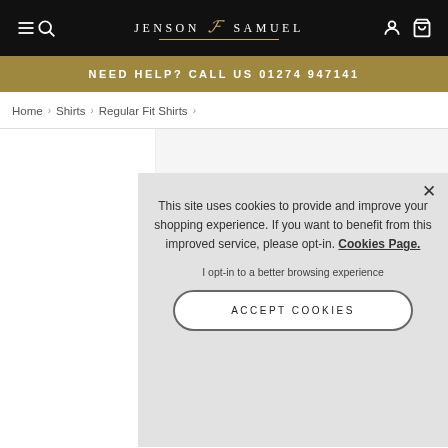Jenson Samuel - Navigation bar with menu, search, logo, account, and cart icons
NEED HELP? CALL US 01274 947141
Home > Shirts > Regular Fit Shirts >
This site uses cookies to provide and improve your shopping experience. If you want to benefit from this improved service, please opt-in. Cookies Page.
I opt-in to a better browsing experience
ACCEPT COOKIES